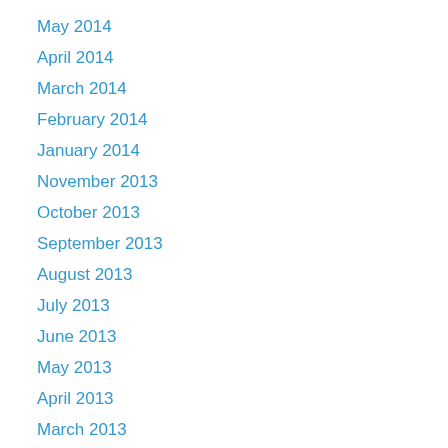May 2014
April 2014
March 2014
February 2014
January 2014
November 2013
October 2013
September 2013
August 2013
July 2013
June 2013
May 2013
April 2013
March 2013
February 2013
January 2013
December 2012
November 2012
July 2012
June 2012